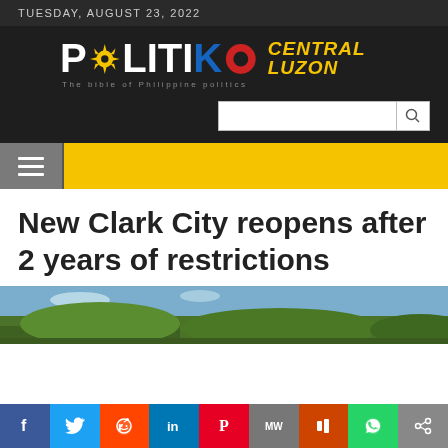TUESDAY, AUGUST 23, 2022
[Figure (logo): Politiko Central Luzon logo with tagline 'The bible of Philippine politics']
[Figure (screenshot): Search input box with magnifier icon]
[Figure (infographic): Yellow navigation bar with hamburger menu icon]
New Clark City reopens after 2 years of restrictions
[Figure (photo): Aerial landscape photo of New Clark City showing green fields and development]
[Figure (infographic): Social media share buttons bar: Facebook, Twitter, Reddit, LinkedIn, Pinterest, MW, Mix, WhatsApp, Share]